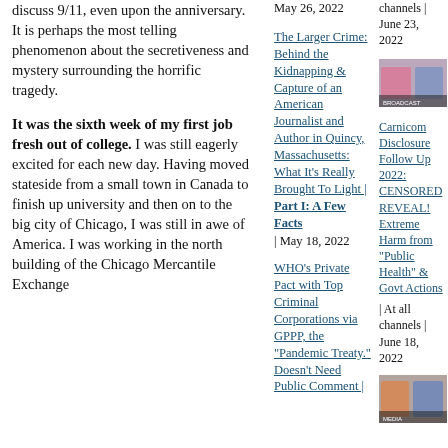discuss 9/11, even upon the anniversary. It is perhaps the most telling phenomenon about the secretiveness and mystery surrounding the horrific tragedy.
It was the sixth week of my first job fresh out of college. I was still eagerly excited for each new day. Having moved stateside from a small town in Canada to finish up university and then on to the big city of Chicago, I was still in awe of America. I was working in the north building of the Chicago Mercantile Exchange
May 26, 2022
The Larger Crime: Behind the Kidnapping & Capture of an American Journalist and Author in Quincy, Massachusetts: What It's Really Brought To Light | Part I: A Few Facts | May 18, 2022
WHO's Private Pact with Top Criminal Corporations via GPPP, the "Pandemic Treaty." Doesn't Need Public Comment |
[Figure (photo): Thumbnail image of two people on a media screen, colored background]
Carnicom Disclosure Follow Up 2022: CENSORED REVEAL! Extreme Harm from "Public Health" & Govt Actions | At all channels | June 18, 2022
channels | June 23, 2022
[Figure (photo): Thumbnail image, colorful broadcast-style graphic with people]